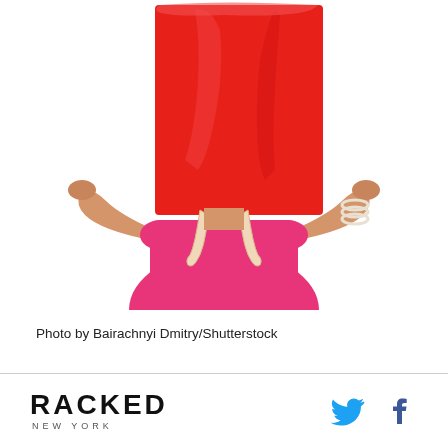[Figure (photo): A woman in a pink/magenta short-sleeve top holding a large red shopping bag over her head, obscuring her face. She wears pearl bracelets. White background.]
Photo by Bairachnyi Dmitry/Shutterstock
RACKED NEW YORK